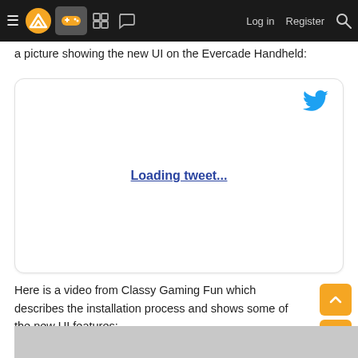Navigation bar with hamburger menu, logo, gamepad icon, grid icon, chat icon, Log in, Register, search
a picture showing the new UI on the Evercade Handheld:
[Figure (screenshot): Embedded tweet loading placeholder with Twitter bird icon in top right and 'Loading tweet...' link in center]
Here is a video from Classy Gaming Fun which describes the installation process and shows some of the new UI features:
[Figure (screenshot): Bottom portion of a video thumbnail, gray background, partially visible]